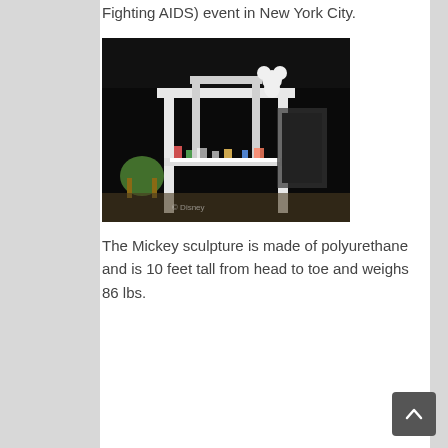Fighting AIDS) event in New York City.
[Figure (photo): A large white Mickey Mouse sculpture perched atop a white rectangular frame/table structure in a dark exhibition hall. Below the frame is a decorated table with colorful items. A colorful chair is visible on the left. A Disney watermark is visible at the bottom left of the image.]
The Mickey sculpture is made of polyurethane and is 10 feet tall from head to toe and weighs 86 lbs.